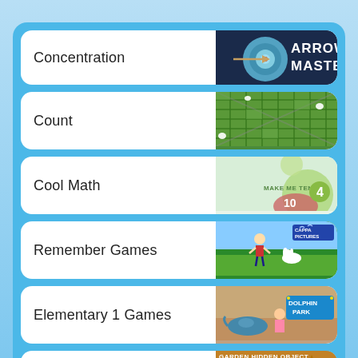Concentration
Count
Cool Math
Remember Games
Elementary 1 Games
Search Image Games